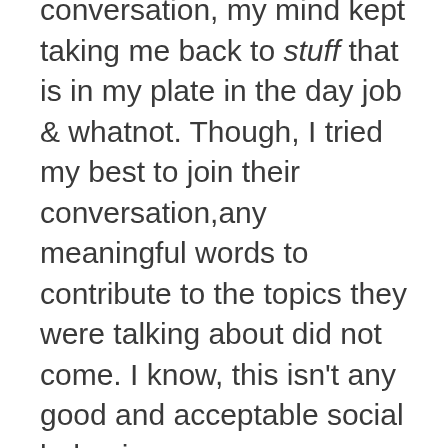conversation, my mind kept taking me back to stuff that is in my plate in the day job & whatnot. Though, I tried my best to join their conversation,any meaningful words to contribute to the topics they were talking about did not come. I know, this isn't any good and acceptable social behavior.
Since the start of this year, I've been thinking about not to think about the day job stuff way too much, specially during weekends and instead focus my mind and energy towards much more interested things like reading or even put down my thoughts down,